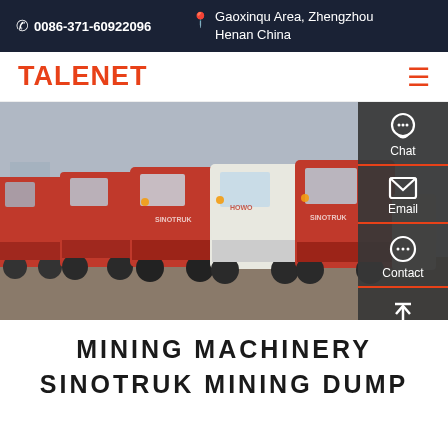☎ 0086-371-60922096   📍 Gaoxinqu Area, Zhengzhou Henan China
TALENET
[Figure (photo): A row of red semi-trucks (Sinotruk brand) parked in a lot, viewed from the front-left angle. One white cab is visible among the red trucks. A tanker trailer is visible on the right side.]
MINING MACHINERY SINOTRUK MINING DUMP